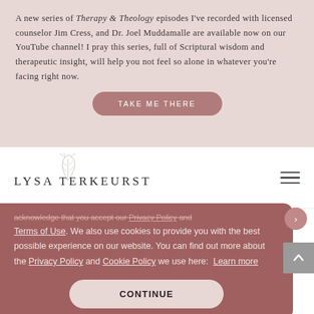A new series of Therapy & Theology episodes I've recorded with licensed counselor Jim Cress, and Dr. Joel Muddamalle are available now on our YouTube channel! I pray this series, full of Scriptural wisdom and therapeutic insight, will help you not feel so alone in whatever you're facing right now.
TAKE ME THERE
[Figure (logo): Lysa TerKeurst logo with decorative leaf/botanical illustration above the text, and a hamburger menu icon to the right]
acknowledge that you accept our Privacy Policy and Terms of Use. We also use cookies to provide you with the best possible experience on our website. You can find out more about the Privacy Policy and Cookie Policy we use here: Learn more
CONTINUE
mom of 2 boys ( going straight to